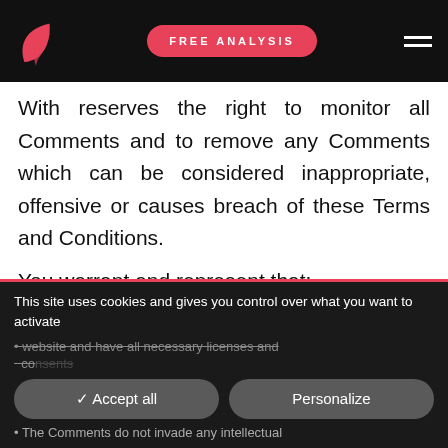FREE ANALYSIS
With reserves the right to monitor all Comments and to remove any Comments which can be considered inappropriate, offensive or causes breach of these Terms and Conditions.
You warrant and represent that:
This site uses cookies and gives you control over what you want to activate
website and have all necessary licenses and consents
The Comments do not invade any intellectual